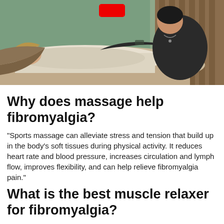[Figure (photo): A person receiving a massage, lying face down on a massage table while a therapist in a black top works on their head/neck area. Video screenshot with a red play button at top.]
Why does massage help fibromyalgia?
“Sports massage can alleviate stress and tension that build up in the body’s soft tissues during physical activity. It reduces heart rate and blood pressure, increases circulation and lymph flow, improves flexibility, and can help relieve fibromyalgia pain.”
What is the best muscle relaxer for fibromyalgia?